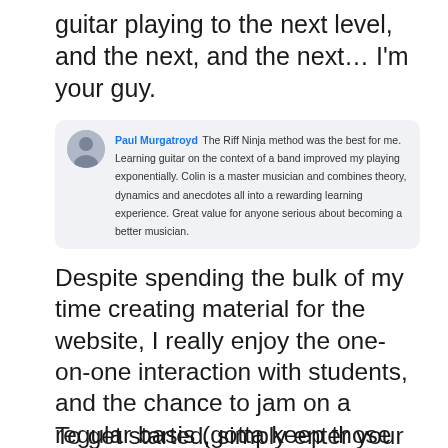guitar playing to the next level, and the next, and the next… I'm your guy.
[Figure (other): Social media style testimonial box with user avatar and comment from Paul Murgatroyd: 'The Riff Ninja method was the best for me. Learning guitar on the context of a band improved my playing exponentially. Colin is a master musician and combines theory, dynamics and anecdotes all into a rewarding learning experience. Great value for anyone serious about becoming a better musician.']
Despite spending the bulk of my time creating material for the website, I really enjoy the one-on-one interaction with students, and the chance to jam on a regular basis (gotta keep those chops up!). For that reason, I keep a few hours of my week open to work with people like yourself, right here in Abbotsford BC.
To get started, simply enter your details in